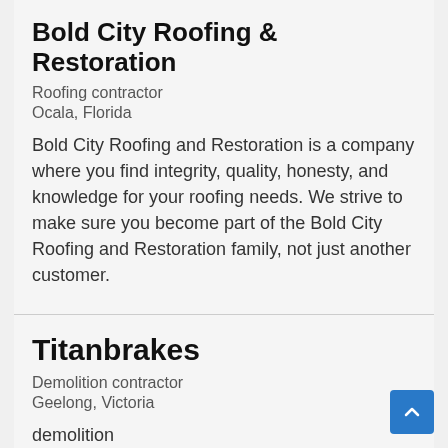Bold City Roofing & Restoration
Roofing contractor
Ocala, Florida
Bold City Roofing and Restoration is a company where you find integrity, quality, honesty, and knowledge for your roofing needs. We strive to make sure you become part of the Bold City Roofing and Restoration family, not just another customer.
Titanbrakes
Demolition contractor
Geelong, Victoria
demolition